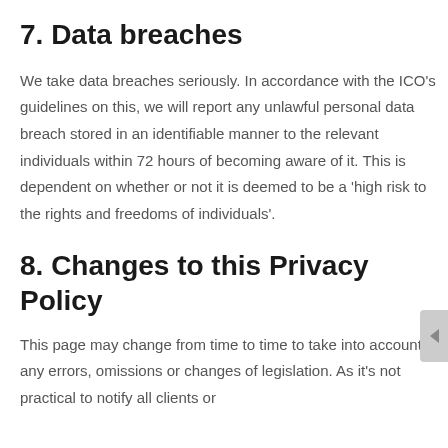7. Data breaches
We take data breaches seriously. In accordance with the ICO’s guidelines on this, we will report any unlawful personal data breach stored in an identifiable manner to the relevant individuals within 72 hours of becoming aware of it. This is dependent on whether or not it is deemed to be a ‘high risk to the rights and freedoms of individuals’.
8. Changes to this Privacy Policy
This page may change from time to time to take into account any errors, omissions or changes of legislation. As it’s not practical to notify all clients or